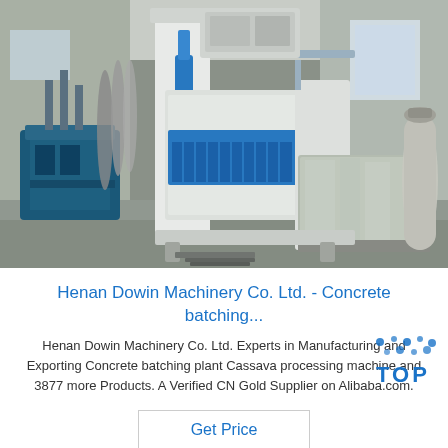[Figure (photo): Industrial machinery — a large white and blue concrete block making machine inside a factory/warehouse setting. Several gas cylinders and blue hydraulic equipment visible in the background. Concrete blocks wrapped in plastic visible beside the machine on the factory floor.]
Henan Dowin Machinery Co. Ltd. - Concrete batching...
Henan Dowin Machinery Co. Ltd. Experts in Manufacturing and Exporting Concrete batching plant Cassava processing machine and 3877 more Products. A Verified CN Gold Supplier on Alibaba.com.
Get Price